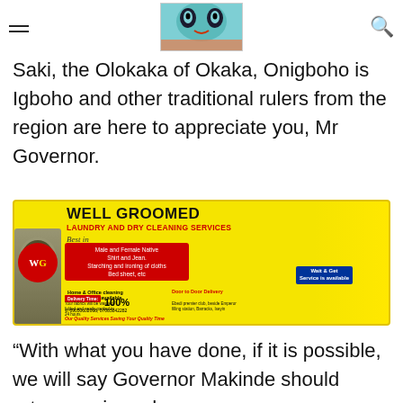[navigation header with menu icon, article image, search icon]
Saki, the Olokaka of Okaka, Onigboho is Igboho and other traditional rulers from the region are here to appreciate you, Mr Governor.
[Figure (photo): Well Groomed Laundry and Dry Cleaning Services advertisement banner. Includes logo (WG), washing machine image, services listed: Male and Female Native Shirt and Jean, Starching and ironing of cloths, Bed sheet etc, Home & Office cleaning services also available. Delivery Time noted. Phone: 09050602008, 07065842282. Location: Ebedi premier club, beside Emperor filling station, Barracks, Iseyin. Tagline: Our Quality Services Saving Your Quality Time]
“With what you have done, if it is possible, we will say Governor Makinde should return again and